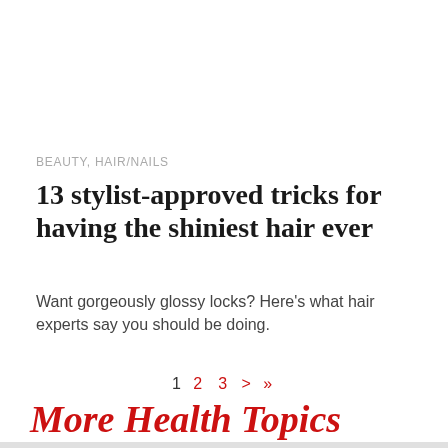BEAUTY, HAIR/NAILS
13 stylist-approved tricks for having the shiniest hair ever
Want gorgeously glossy locks? Here's what hair experts say you should be doing.
1   2   3   >   »
More Health Topics